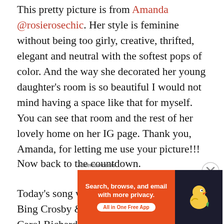This pretty picture is from Amanda @rosierosechic. Her style is feminine without being too girly, creative, thrifted, elegant and neutral with the softest pops of color.  And the way she decorated her young daughter's room is so beautiful I would not mind having a space like that for myself.  You can see that room and the rest of her lovely home on her IG page. Thank you, Amanda, for letting me use your picture!!!
Now back to the countdown.
Today's song was originally recorded by Bing Crosby & Carol Richards in 1950 and was featured in the 1951
[Figure (screenshot): DuckDuckGo advertisement banner: orange section with 'Search, browse, and email with more privacy. All in One Free App' text, dark section with DuckDuckGo duck logo]